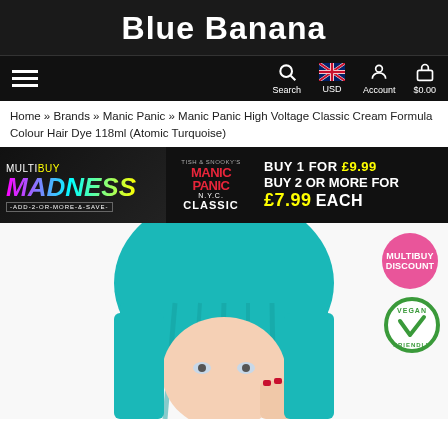Blue Banana
Search  USD  Account  $0.00
Home » Brands » Manic Panic » Manic Panic High Voltage Classic Cream Formula Colour Hair Dye 118ml (Atomic Turquoise)
[Figure (infographic): Manic Panic Multibuy Madness promotional banner: BUY 1 FOR £9.99, BUY 2 OR MORE FOR £7.99 EACH]
[Figure (photo): Woman with long turquoise Manic Panic hair dye, holding hand to face, with Multibuy Discount and Vegan Friendly badges]